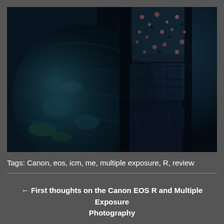[Figure (photo): Dark moody photograph showing a circular globe or sphere on the left with blue-tinted abstract textures, and on the right a textured surface with pink/coral speckled pattern, with dark structural bars or frames visible, overall blue-dark color palette]
Tags: Canon, eos, icm, me, multiple exposure, R, review
← First thoughts on the Canon EOS R and Multiple Exposure Photography